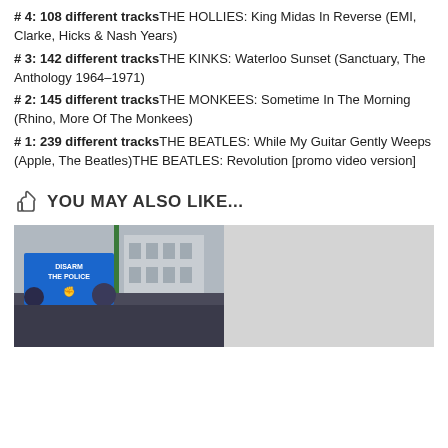# 4: 142 different tracks THE HOLLIES: King Midas In Reverse (EMI, Clarke, Hicks & Nash Years)
# 3: 142 different tracks THE KINKS: Waterloo Sunset (Sanctuary, The Anthology 1964-1971)
# 2: 145 different tracks THE MONKEES: Sometime In The Morning (Rhino, More Of The Monkees)
# 1: 239 different tracks THE BEATLES: While My Guitar Gently Weeps (Apple, The Beatles)THE BEATLES: Revolution [promo video version]
YOU MAY ALSO LIKE...
[Figure (photo): Protest photo showing crowd with signs reading 'DISARM THE POLICE' and 'NO: OPEN CARRY']